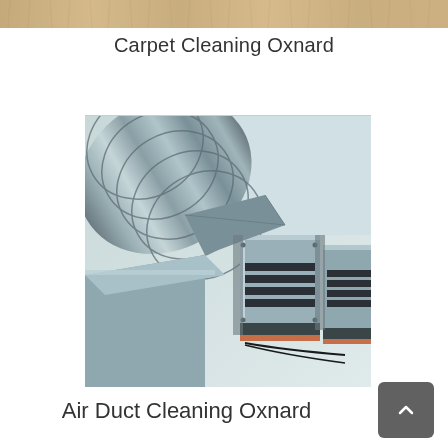[Figure (photo): Partial view of carpet texture at the top edge of the page]
Carpet Cleaning Oxnard
[Figure (photo): Industrial HVAC air duct system showing large round spiral duct and rectangular metal duct sections mounted to ceiling/wall]
Air Duct Cleaning Oxnard